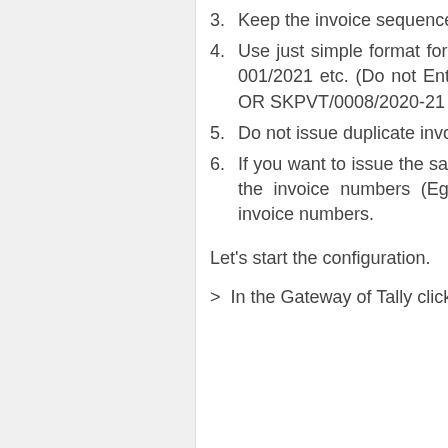3. Keep the invoice sequence number with the invoice date.
4. Use just simple format for Invoice Numbering Eg: 001/20-21 or 1001/21 or 001/2021 etc. (Do not Enter large invoice No: 0003/GST/VPT/2020-21 OR SKPVT/0008/2020-21 etc...)
5. Do not issue duplicate invoice numbers.
6. If you want to issue the same invoice numbers, just add A or -1 or /1 etc., in the invoice numbers (Eg: 001A/20-21 etc). Please do not issue same invoice numbers.
Let's start the configuration.
> In the Gateway of Tally click on Inventory Info.